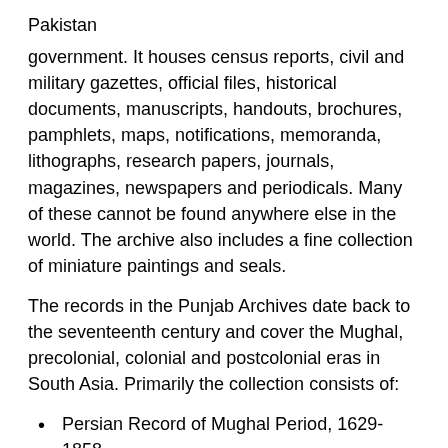Pakistan
government. It houses census reports, civil and military gazettes, official files, historical documents, manuscripts, handouts, brochures, pamphlets, maps, notifications, memoranda, lithographs, research papers, journals, magazines, newspapers and periodicals. Many of these cannot be found anywhere else in the world. The archive also includes a fine collection of miniature paintings and seals.
The records in the Punjab Archives date back to the seventeenth century and cover the Mughal, precolonial, colonial and postcolonial eras in South Asia. Primarily the collection consists of:
Persian Record of Mughal Period, 1629-1858
Persian Record of Sikh Period, 1799-1849
Akhbar Darbar-e-Lahore (Daily Court Proceedings of Sikh Rulers), 1835-1849